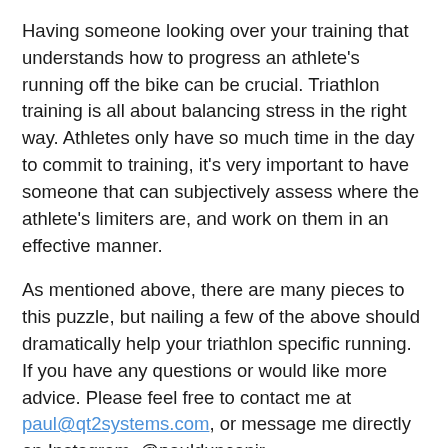Having someone looking over your training that understands how to progress an athlete's running off the bike can be crucial. Triathlon training is all about balancing stress in the right way. Athletes only have so much time in the day to commit to training, it's very important to have someone that can subjectively assess where the athlete's limiters are, and work on them in an effective manner.
As mentioned above, there are many pieces to this puzzle, but nailing a few of the above should dramatically help your triathlon specific running. If you have any questions or would like more advice. Please feel free to contact me at paul@qt2systems.com, or message me directly on Instagram, @paulduncanjr.
Thanks for reading. Have something you want me to cover in my next article? Shoot me a message!